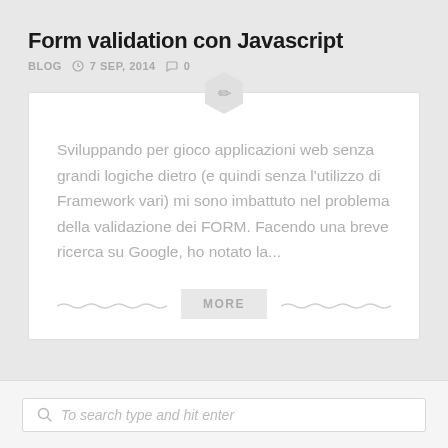Form validation con Javascript
BLOG  7 SEP, 2014  0
[Figure (illustration): Hexagonal icon with a pencil/edit symbol in light gray]
Sviluppando per gioco applicazioni web senza grandi logiche dietro (e quindi senza l'utilizzo di Framework vari) mi sono imbattuto nel problema della validazione dei FORM. Facendo una breve ricerca su Google, ho notato la...
MORE
To search type and hit enter